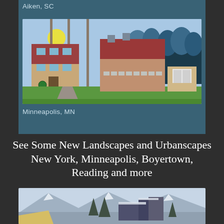Aiken, SC
[Figure (illustration): Flat-style illustration of suburban houses with trees, a sun, and greenery in Minneapolis, MN style]
Minneapolis, MN
See Some New Landscapes and Urbanscapes
New York, Minneapolis, Boyertown, Reading and more
[Figure (illustration): Watercolor-style painting showing snowy winter landscape with dark trees, mountains, and buildings with snow-covered roofs]